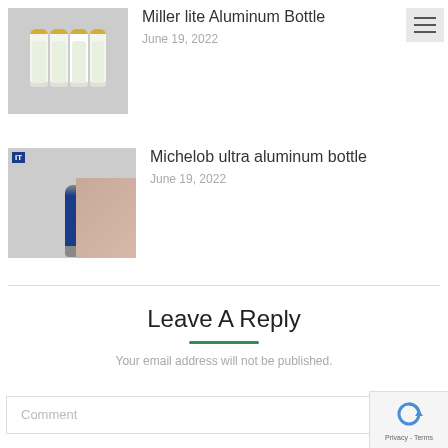[Figure (photo): Miller Lite aluminum bottles arranged in a row against dark navy background]
Miller lite Aluminum Bottle
June 19, 2022
[Figure (photo): Michelob Ultra aluminum bottle in blue, person holding it with text IT visible in top left]
Michelob ultra aluminum bottle
June 19, 2022
Leave A Reply
Your email address will not be published.
Comment